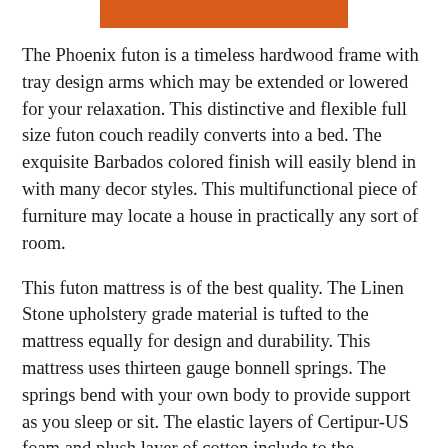[Figure (other): Orange/red-orange horizontal bar at top center of page]
The Phoenix futon is a timeless hardwood frame with tray design arms which may be extended or lowered for your relaxation. This distinctive and flexible full size futon couch readily converts into a bed. The exquisite Barbados colored finish will easily blend in with many decor styles. This multifunctional piece of furniture may locate a house in practically any sort of room.
This futon mattress is of the best quality. The Linen Stone upholstery grade material is tufted to the mattress equally for design and durability. This mattress uses thirteen gauge bonnell springs. The springs bend with your own body to provide support as you sleep or sit. The elastic layers of Certipur-US foam and plush layer of cotton include to the